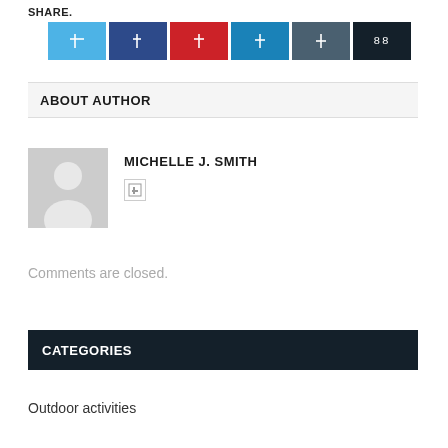SHARE.
[Figure (other): Six social media share buttons: Twitter (light blue), Facebook (dark blue), Pinterest (red), LinkedIn (teal), Share (dark teal/slate), More (very dark navy) with icon glyphs]
ABOUT AUTHOR
[Figure (photo): Generic grey placeholder avatar silhouette of a person]
MICHELLE J. SMITH
Comments are closed.
CATEGORIES
Outdoor activities